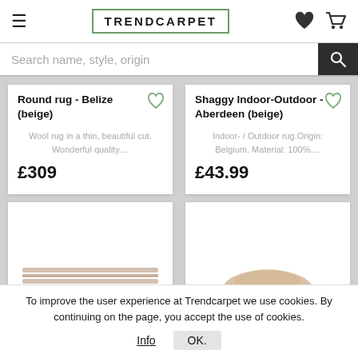TRENDCARPET
Search name, style, origin
Round rug - Belize (beige)
Wool rug in a thin, beautiful cut. Wonderful quality....
£309
Shaggy Indoor-Outdoor - Aberdeen (beige)
Indoor- / Outdoor rug.Origin: Belgium. Material: 100%...
£43.99
To improve the user experience at Trendcarpet we use cookies. By continuing on the page, you accept the use of cookies.
Info    OK.